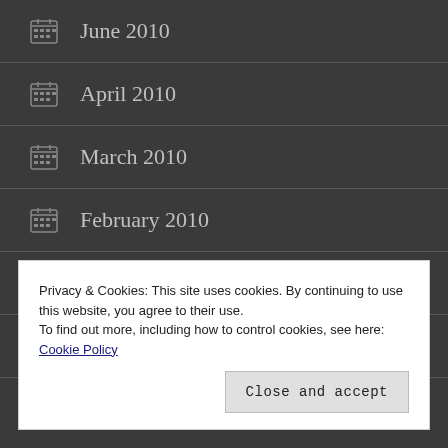June 2010
April 2010
March 2010
February 2010
January 2010
December 2009
Privacy & Cookies: This site uses cookies. By continuing to use this website, you agree to their use. To find out more, including how to control cookies, see here: Cookie Policy
Close and accept